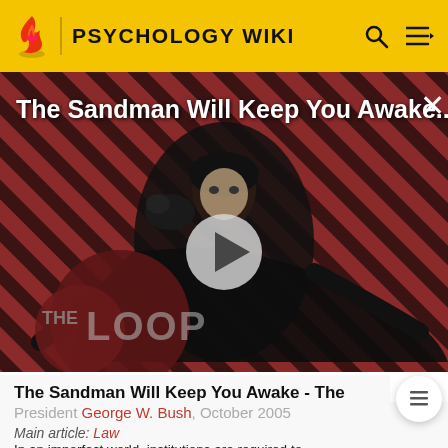PSYCHOLOGY WIKI
[Figure (screenshot): Video thumbnail for 'The Sandman Will Keep You Awake...' showing a dark-cloaked figure against a red diagonal striped background with a play button overlay and 'THE LOOP' badge in the lower left.]
The Sandman Will Keep You Awake - The Loop
President George W. Bush, October 2005
Main article: Law
In an imperfect world, institutions are required to